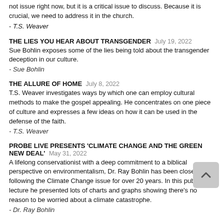not issue right now, but it is a critical issue to discuss. Because it is crucial, we need to address it in the church.
- T.S. Weaver
THE LIES YOU HEAR ABOUT TRANSGENDER July 19, 2022
Sue Bohlin exposes some of the lies being told about the transgender deception in our culture.
- Sue Bohlin
THE ALLURE OF HOME July 8, 2022
T.S. Weaver investigates ways by which one can employ cultural methods to make the gospel appealing. He concentrates on one piece of culture and expresses a few ideas on how it can be used in the defense of the faith.
- T.S. Weaver
PROBE LIVE PRESENTS 'CLIMATE CHANGE AND THE GREEN NEW DEAL' May 31, 2022
A lifelong conservationist with a deep commitment to a biblical perspective on environmentalism, Dr. Ray Bohlin has been closely following the Climate Change issue for over 20 years. In this public lecture he presented lots of charts and graphs showing there's no reason to be worried about a climate catastrophe.
- Dr. Ray Bohlin